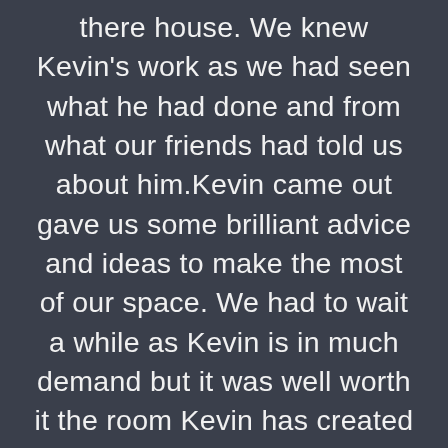there house. We knew Kevin's work as we had seen what he had done and from what our friends had told us about him.Kevin came out gave us some brilliant advice and ideas to make the most of our space. We had to wait a while as Kevin is in much demand but it was well worth it the room Kevin has created for us and his attention to detail is absolutely flawless, he is without a shadow of doubt